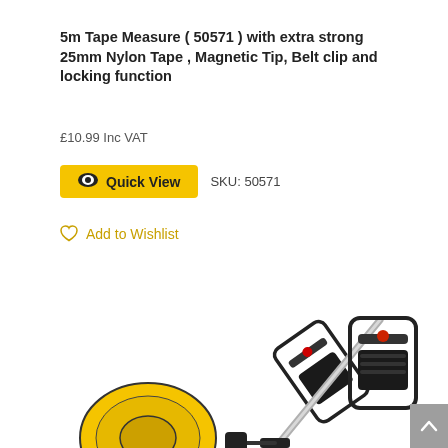5m Tape Measure ( 50571 ) with extra strong 25mm Nylon Tape , Magnetic Tip, Belt clip and locking function
£10.99 Inc VAT
Quick View  SKU: 50571
Add to Wishlist
[Figure (photo): Product photo showing a tape measure with a metal handle/frame and yellow casing, partially visible at the bottom of the page]